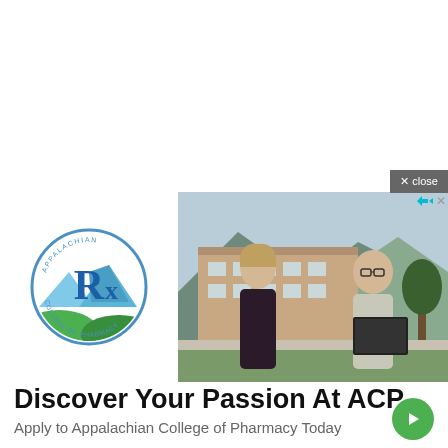[Figure (screenshot): Close button with X and 'close' text on grey background, positioned top right of ad]
[Figure (photo): Advertisement image showing Appalachian College of Pharmacy logo (Rx symbol in blue circle) on left, and photo of two students conversing outdoors in front of a brick building with mountains in background on right]
Discover Your Passion At ACP
Apply to Appalachian College of Pharmacy Today